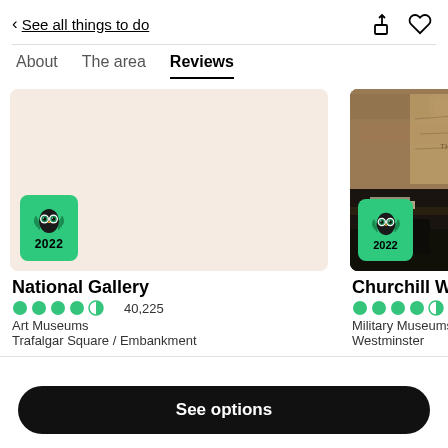< See all things to do
About
The area
Reviews
[Figure (photo): National Gallery card with pinkish background and TripAdvisor 2022 badge]
National Gallery
40,225
Art Museums
Trafalgar Square / Embankment
[Figure (photo): Churchill War Rooms card with interior photo showing dark room with map and desk, TripAdvisor 2022 badge, and forward arrow button]
Churchill War Room
23,225
Military Museums • Histo...
Westminster
See options